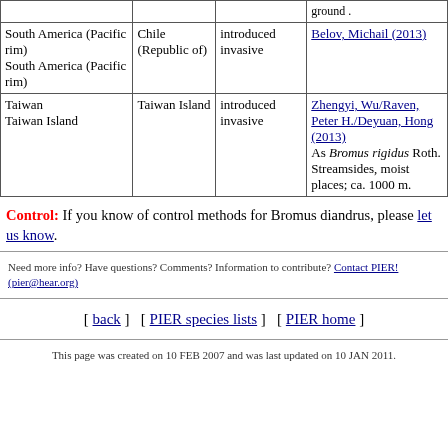| Location | Country/Territory | Status | References/Notes |
| --- | --- | --- | --- |
|  |  |  | ground . |
| South America (Pacific rim)
South America (Pacific rim) | Chile (Republic of) | introduced invasive | Belov, Michail (2013) |
| Taiwan
Taiwan Island | Taiwan Island | introduced invasive | Zhengyi, Wu/Raven, Peter H./Deyuan, Hong (2013)
As Bromus rigidus Roth. Streamsides, moist places; ca. 1000 m. |
Control: If you know of control methods for Bromus diandrus, please let us know.
Need more info? Have questions? Comments? Information to contribute? Contact PIER! (pier@hear.org)
[ back ]   [ PIER species lists ]   [ PIER home ]
This page was created on 10 FEB 2007 and was last updated on 10 JAN 2011.